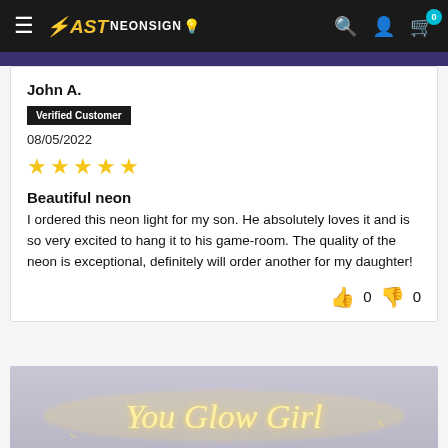FAST NEONSIGN - navigation bar with hamburger menu, logo, search, account, and cart icons
John A.
Verified Customer
08/05/2022
★★★★★
Beautiful neon
I ordered this neon light for my son. He absolutely loves it and is so very excited to hang it to his game-room. The quality of the neon is exceptional, definitely will order another for my daughter!
👍 0  👎 0
[Figure (photo): Photo of a neon sign reading 'You Glow Girl' in warm yellow/gold cursive neon lettering mounted on a light grey wall]